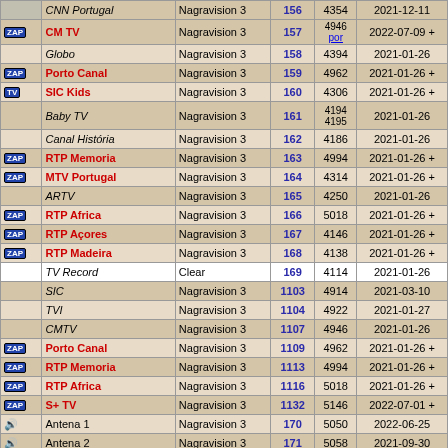| Icon | Channel Name | Encryption | Ch# | PID | Date |
| --- | --- | --- | --- | --- | --- |
|  | CNN Portugal | Nagravision 3 | 156 | 4354 | 2021-12-11 |
| ZAP | CM TV | Nagravision 3 | 157 | 4946 por | 2022-07-09 + |
|  | Globo | Nagravision 3 | 158 | 4394 | 2021-01-26 |
| ZAP | Porto Canal | Nagravision 3 | 159 | 4962 | 2021-01-26 + |
| TV | SIC Kids | Nagravision 3 | 160 | 4306 | 2021-01-26 + |
|  | Baby TV | Nagravision 3 | 161 | 4194 4195 | 2021-01-26 |
|  | Canal História | Nagravision 3 | 162 | 4186 | 2021-01-26 |
| ZAP | RTP Memoria | Nagravision 3 | 163 | 4994 | 2021-01-26 + |
| ZAP | MTV Portugal | Nagravision 3 | 164 | 4314 | 2021-01-26 + |
|  | ARTV | Nagravision 3 | 165 | 4250 | 2021-01-26 |
| ZAP | RTP Africa | Nagravision 3 | 166 | 5018 | 2021-01-26 + |
| ZAP | RTP Açores | Nagravision 3 | 167 | 4146 | 2021-01-26 + |
| ZAP | RTP Madeira | Nagravision 3 | 168 | 4138 | 2021-01-26 + |
|  | TV Record | Clear | 169 | 4114 | 2021-01-26 |
|  | SIC | Nagravision 3 | 1103 | 4914 | 2021-03-10 |
|  | TVI | Nagravision 3 | 1104 | 4922 | 2021-01-27 |
|  | CMTV | Nagravision 3 | 1107 | 4946 | 2021-01-26 |
| ZAP | Porto Canal | Nagravision 3 | 1109 | 4962 | 2021-01-26 + |
| ZAP | RTP Memoria | Nagravision 3 | 1113 | 4994 | 2021-01-26 + |
| ZAP | RTP Africa | Nagravision 3 | 1116 | 5018 | 2021-01-26 + |
| ZAP | S+ TV | Nagravision 3 | 1132 | 5146 | 2022-07-01 + |
| audio | Antena 1 | Nagravision 3 | 170 | 5050 | 2022-06-25 |
| audio | Antena 2 | Nagravision 3 | 171 | 5058 | 2021-09-30 |
| audio | Antena 3 | Nagravision 3 | 172 | 5066 | 2021-09-30 |